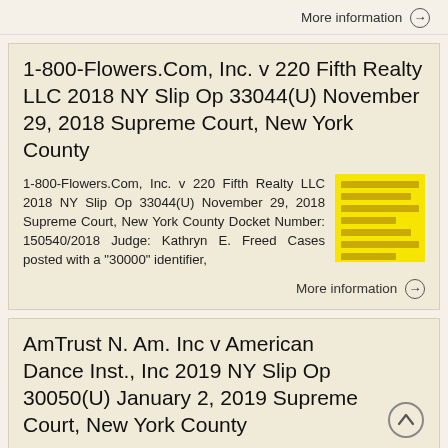More information →
1-800-Flowers.Com, Inc. v 220 Fifth Realty LLC 2018 NY Slip Op 33044(U) November 29, 2018 Supreme Court, New York County
1-800-Flowers.Com, Inc. v 220 Fifth Realty LLC 2018 NY Slip Op 33044(U) November 29, 2018 Supreme Court, New York County Docket Number: 150540/2018 Judge: Kathryn E. Freed Cases posted with a "30000" identifier,
More information →
AmTrust N. Am. Inc v American Dance Inst., Inc 2019 NY Slip Op 30050(U) January 2, 2019 Supreme Court, New York County